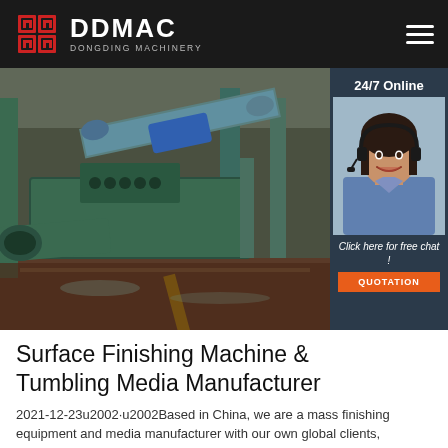DDMAC DONGDING MACHINERY
[Figure (photo): Industrial factory floor showing green-painted surface finishing machinery and equipment with conveyor belts and processing machinery in an industrial setting]
[Figure (photo): 24/7 Online support agent: woman with headset smiling, with 'Click here for free chat!' text and QUOTATION button overlay]
Surface Finishing Machine & Tumbling Media Manufacturer
2021-12-23u2002·u2002Based in China, we are a mass finishing equipment and media manufacturer with our own global clients, including: Such as...